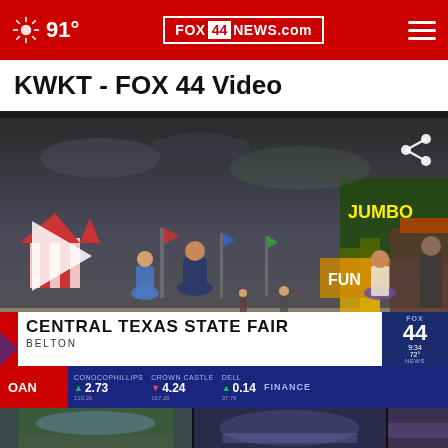91° FOX 44 NEWS.com
KWKT - FOX 44 Video
[Figure (screenshot): Video thumbnail showing Central Texas State Fair in Belton. A fair midway scene with people walking, colorful tents, food stands and signs including 'JUMBO' and 'FUN'. A play button is visible on the left. Lower third overlay reads 'CENTRAL TEXAS STATE FAIR / BELTON'. FOX 44 bug in top right corner. Stock ticker bar at bottom showing CONOCOPHILLIPS 2.73, CROWN CASTLE 4.24, DELL 0.14, FINANCE.]
[Figure (photo): Thumbnail of outdoor scene, possibly cloudy sky]
[Figure (photo): Thumbnail of sports crowd or stadium scene]
[Figure (photo): Thumbnail of news studio or broadcast]